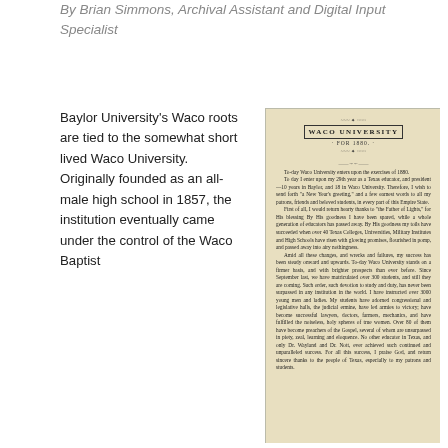By Brian Simmons, Archival Assistant and Digital Input Specialist
Baylor University's Waco roots are tied to the somewhat short lived Waco University. Originally founded as an all-male high school in 1857, the institution eventually came under the control of the Waco Baptist
[Figure (photo): Aged historical document titled 'WACO UNIVERSITY FOR 1880' with decorative border around the title. Contains a letter from a Texas educator beginning 'To-day Waco University enters upon the exercises of 1880. To day I enter upon my 29th year as a Texas educator, and president—10 years in Baylor, and 18 in Waco University.' The document is printed on yellowed paper with dense text about the institution's accomplishments.]